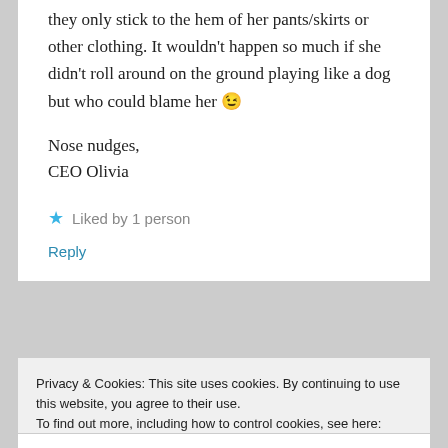they only stick to the hem of her pants/skirts or other clothing. It wouldn't happen so much if she didn't roll around on the ground playing like a dog but who could blame her 😉
Nose nudges,
CEO Olivia
★ Liked by 1 person
Reply
Privacy & Cookies: This site uses cookies. By continuing to use this website, you agree to their use.
To find out more, including how to control cookies, see here: Cookie Policy
Close and accept